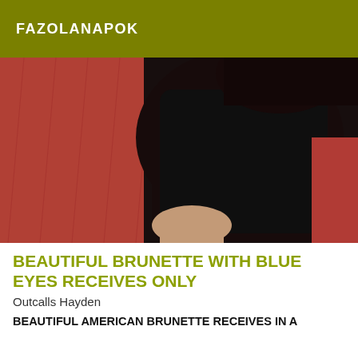FAZOLANAPOK
[Figure (photo): A person wearing a black top seated against a red/pink textured background, photo taken from above showing torso and legs.]
BEAUTIFUL BRUNETTE WITH BLUE EYES RECEIVES ONLY
Outcalls Hayden
BEAUTIFUL AMERICAN BRUNETTE RECEIVES IN A